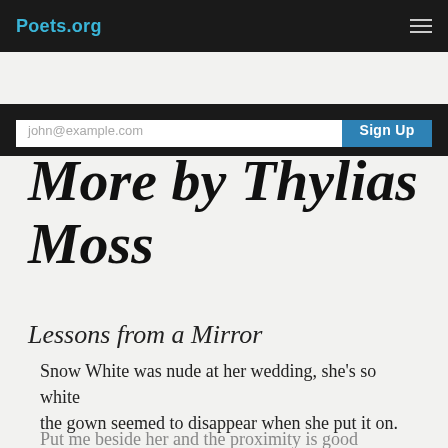Poets.org
john@example.com   Sign Up
More by Thylias Moss
Lessons from a Mirror
Snow White was nude at her wedding, she's so white the gown seemed to disappear when she put it on.
Put me beside her and the proximity is good